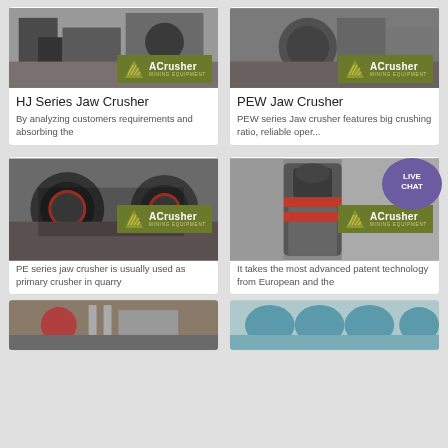[Figure (photo): HJ Series Jaw Crusher product photo with ACrusher Mining Equipment logo overlay]
HJ Series Jaw Crusher
By analyzing customers requirements and absorbing the
[Figure (photo): PEW Jaw Crusher product photo with ACrusher Mining Equipment logo overlay and Live Chat bubble]
PEW Jaw Crusher
PEW series Jaw crusher features big crushing ratio, reliable oper...
[Figure (photo): PE Jaw Crusher product photo with ACrusher Mining Equipment logo overlay]
PE Jaw Crusher
PE series jaw crusher is usually used as primary crusher in quarry
[Figure (photo): MTW Milling Machine product photo with ACrusher Mining Equipment logo overlay]
MTW Milling Machine
It takes the most advanced patent technology from European and the
[Figure (photo): Partial view of industrial equipment at bottom left]
[Figure (photo): Partial view of industrial equipment at bottom right]